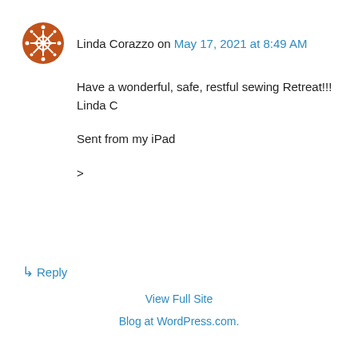[Figure (illustration): Round orange/brown avatar icon with white snowflake/mandala pattern]
Linda Corazzo on May 17, 2021 at 8:49 AM
Have a wonderful, safe, restful sewing Retreat!!!
Linda C

Sent from my iPad

>
↳ Reply
View Full Site
Blog at WordPress.com.